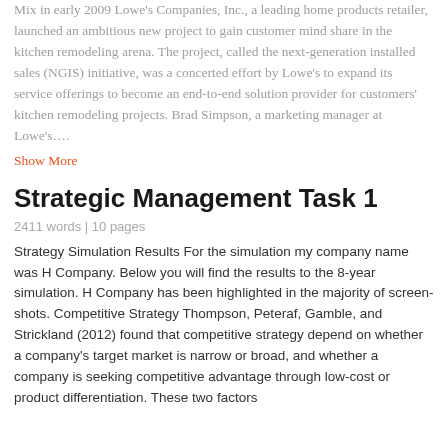Mix in early 2009 Lowe's Companies, Inc., a leading home products retailer, launched an ambitious new project to gain customer mind share in the kitchen remodeling arena. The project, called the next-generation installed sales (NGIS) initiative, was a concerted effort by Lowe's to expand its service offerings to become an end-to-end solution provider for customers' kitchen remodeling projects. Brad Simpson, a marketing manager at Lowe's….
Show More
Strategic Management Task 1
2411 words | 10 pages
Strategy Simulation Results For the simulation my company name was H Company. Below you will find the results to the 8-year simulation. H Company has been highlighted in the majority of screen-shots. Competitive Strategy Thompson, Peteraf, Gamble, and Strickland (2012) found that competitive strategy depend on whether a company's target market is narrow or broad, and whether a company is seeking competitive advantage through low-cost or product differentiation. These two factors